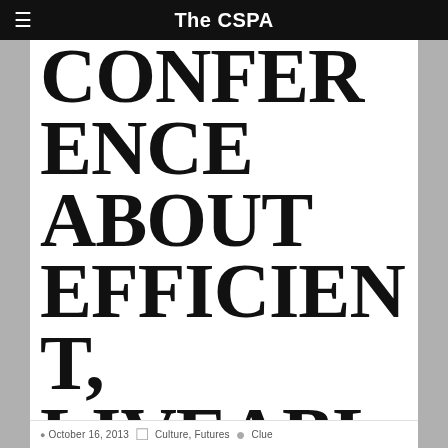The CSPA
CONFERENCE ABOUT EFFICIENT, LIVEABLE AND SUSTAINABLE CITIES
October 16, 2013   Culture, Futures   Clue